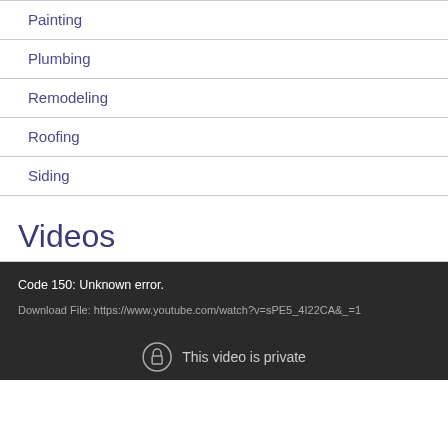Painting
Plumbing
Remodeling
Roofing
Siding
Videos
[Figure (screenshot): Video player showing error: Code 150: Unknown error. Download File: https://www.youtube.com/watch?v=sPE5_4I22CA&_=1. Bottom shows lock icon and text 'This video is private'.]